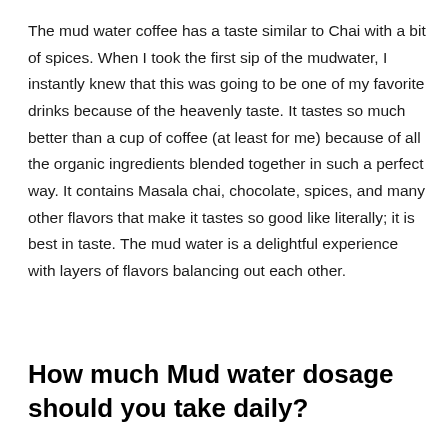The mud water coffee has a taste similar to Chai with a bit of spices. When I took the first sip of the mudwater, I instantly knew that this was going to be one of my favorite drinks because of the heavenly taste. It tastes so much better than a cup of coffee (at least for me) because of all the organic ingredients blended together in such a perfect way. It contains Masala chai, chocolate, spices, and many other flavors that make it tastes so good like literally; it is best in taste. The mud water is a delightful experience with layers of flavors balancing out each other.
How much Mud water dosage should you take daily?